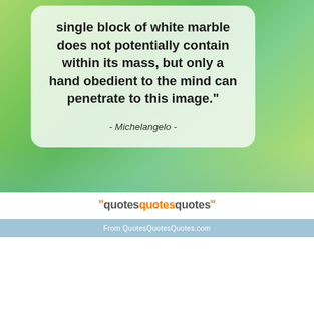[Figure (illustration): Inspirational quote card on a green gradient background. A white/frosted card displays a quote about a single block of white marble, attributed to Michelangelo. Below the image is a footer bar with the QuotesQuotesQuotes logo and website URL.]
single block of white marble does not potentially contain within its mass, but only a hand obedient to the mind can penetrate to this image."
- Michelangelo -
"quotesquotesquotes" From QuotesQuotesQuotes.com